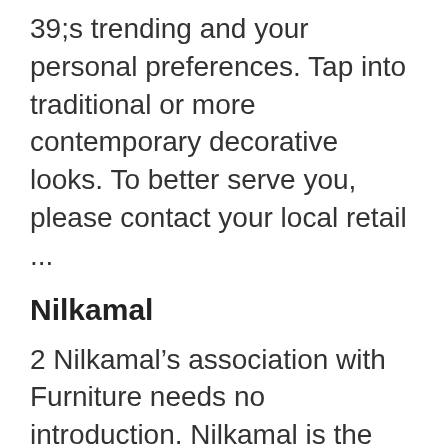39;s trending and your personal preferences. Tap into traditional or more contemporary decorative looks. To better serve you, please contact your local retail ...
Nilkamal
2 Nilkamal’s association with Furniture needs no introduction. Nilkamal is the world’s largest manufacturer of moulded furniture and Asia’s largest processor of plastic moulded products. This expertise has been extended for our range of Ready Furniture too, to enhance the quality and style of your sheen interiors. View More.
Making cello templates for molds, scroll, and arching ...
2 Building a Cello–Step 2: Making cello templates for molds, scroll, and arching After choosing a